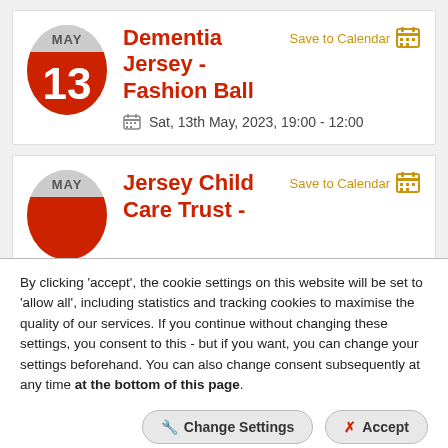Dementia Jersey - Fashion Ball
Save to Calendar
Sat, 13th May, 2023, 19:00 - 12:00
Jersey Child Care Trust -
Save to Calendar
By clicking 'accept', the cookie settings on this website will be set to 'allow all', including statistics and tracking cookies to maximise the quality of our services. If you continue without changing these settings, you consent to this - but if you want, you can change your settings beforehand. You can also change consent subsequently at any time at the bottom of this page.
Change Settings
Accept